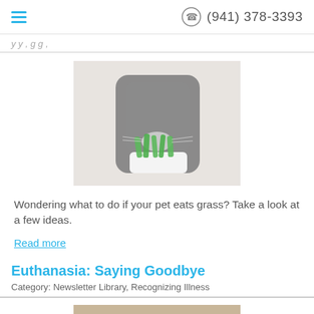(941) 378-3393
Wondering what to do if your pet eats grass? Take a look at a few ideas.
Read more
Euthanasia: Saying Goodbye
Category: Newsletter Library, Recognizing Illness
[Figure (photo): Gray fluffy cat eating green grass from a white pot]
[Figure (photo): Close-up of a brown/golden dog face looking at camera]